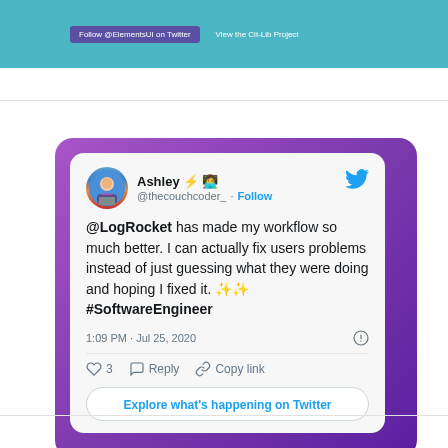[Figure (screenshot): Top teal banner with button 'Follow @ElementsUI on Twitter' and link 'View the Cit-Lib Project']
[Figure (screenshot): Tweet card from Ashley (@thecouchcoder_) embedded in a purple gradient background. Tweet reads: '@LogRocket has made my workflow so much better. I can actually fix users problems instead of just guessing what they were doing and hoping I fixed it. ✨✨ #SoftwareEngineer' — posted 1:09 PM · Jul 25, 2020. Actions: 3 likes, Reply, Copy link. Button: Explore what's happening on Twitter.]